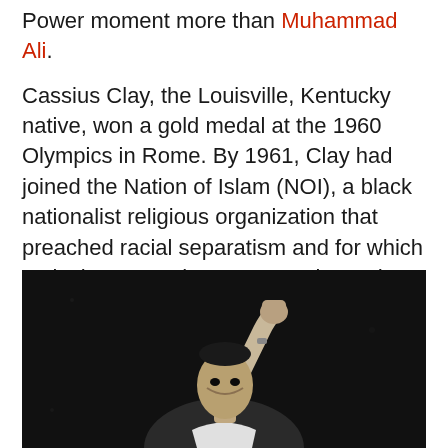Power moment more than Muhammad Ali.

Cassius Clay, the Louisville, Kentucky native, won a gold medal at the 1960 Olympics in Rome. By 1961, Clay had joined the Nation of Islam (NOI), a black nationalist religious organization that preached racial separatism and for which Malcolm X was the most popular and influential spokesperson. When Ali refused induction to the United States Army during the Vietnam War in 1966, he quickly became the symbol of athlete as radical.
[Figure (photo): Black and white photograph of Muhammad Ali raising his fist, visible from chest up against a dark background.]